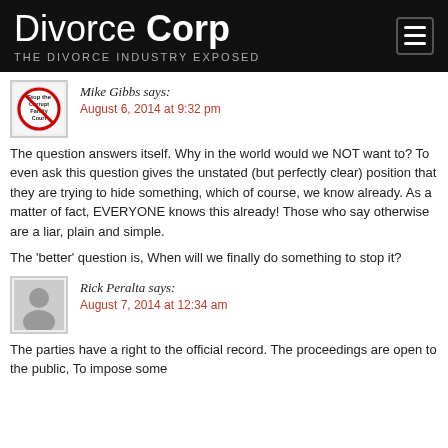Divorce Corp — THE DIVORCE INDUSTRY EXPOSED
Mike Gibbs says:
August 6, 2014 at 9:32 pm
The question answers itself. Why in the world would we NOT want to? To even ask this question gives the unstated (but perfectly clear) position that they are trying to hide something, which of course, we know already. As a matter of fact, EVERYONE knows this already! Those who say otherwise are a liar, plain and simple.

The 'better' question is, When will we finally do something to stop it?
Rick Peralta says:
August 7, 2014 at 12:34 am
The parties have a right to the official record. The proceedings are open to the public, To impose some